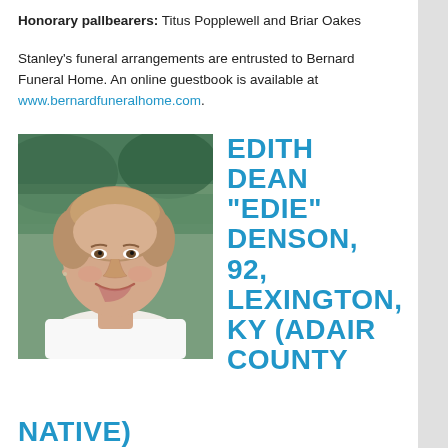Honorary pallbearers: Titus Popplewell and Briar Oakes
Stanley's funeral arrangements are entrusted to Bernard Funeral Home. An online guestbook is available at www.bernardfuneralhome.com.
[Figure (photo): Portrait photo of Edith Dean 'Edie' Denson, an elderly woman with short light brown hair, smiling, wearing a white top, with a blurred outdoor background.]
EDITH DEAN "EDIE" DENSON, 92, LEXINGTON, KY (ADAIR COUNTY NATIVE)